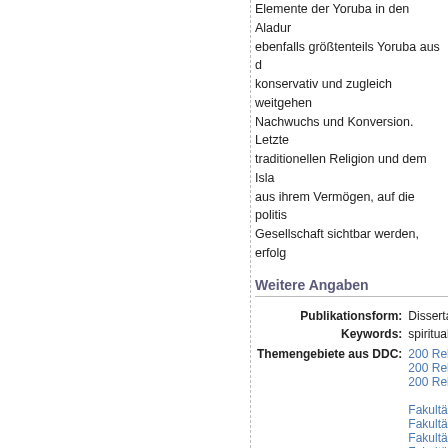Elemente der Yoruba in den Aladur ebenfalls größtenteils Yoruba aus d konservativ und zugleich weitgehen Nachwuchs und Konversion. Letzte traditionellen Religion und dem Isla aus ihrem Vermögen, auf die politis Gesellschaft sichtbar werden, erfolg
Weitere Angaben
| Publikationsform: | Disserta |
| Keywords: | spiritual |
| Themengebiete aus DDC: | 200 Rel
200 Rel
200 Rel |
| Institutionen der Universität: | Fakultät
Fakultät
Fakultät
Fakultät
Religion
Graduie
Graduie
Graduie
Fakultät |
| Sprache: | Englisch |